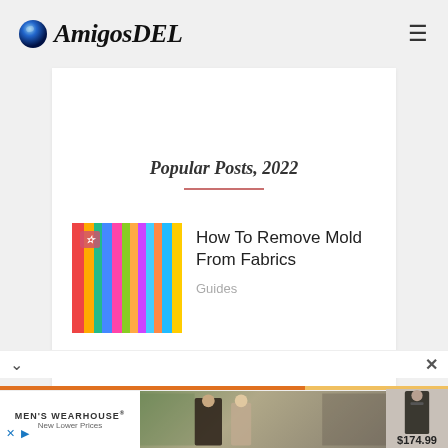AmigosDEL
Popular Posts, 2022
[Figure (photo): Colorful fabric rolls hanging vertically in pink/red/green/blue tones with a pink badge overlay]
How To Remove Mold From Fabrics
Guides
[Figure (photo): Kitchen interior with shelving and greenery, eco-friendly theme]
How To Clean The Kitchen, Eco-Friendly Tips
Do It Yourself
[Figure (photo): Men's Wearhouse advertisement showing couple in formal wear and a man in suit with price $174.99]